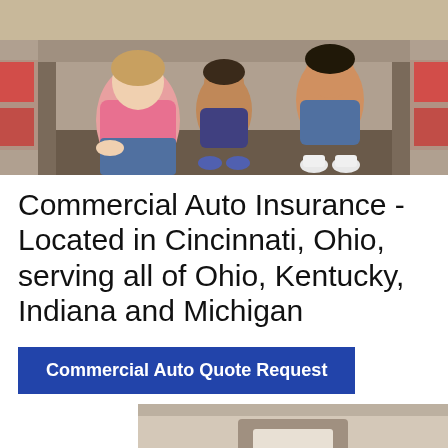[Figure (photo): Family sitting in the back of an SUV/minivan. A woman in a pink top and jeans kneels at left, two children sit in the cargo area, and another person sits behind them. Vehicle has visible tail lights.]
Commercial Auto Insurance - Located in Cincinnati, Ohio, serving all of Ohio, Kentucky, Indiana and Michigan
Commercial Auto Quote Request
[Figure (photo): Partial view of an interior room or garage space, beige/tan walls visible with some equipment.]